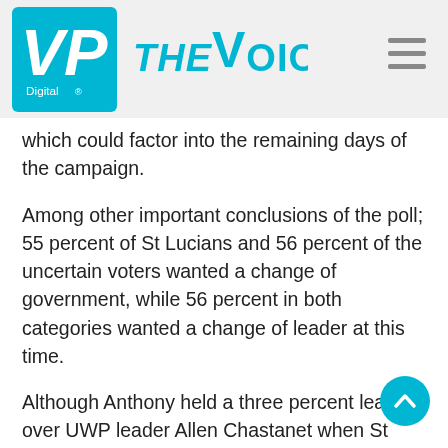VP Digital - The Voice
which could factor into the remaining days of the campaign.
Among other important conclusions of the poll; 55 percent of St Lucians and 56 percent of the uncertain voters wanted a change of government, while 56 percent in both categories wanted a change of leader at this time.
Although Anthony held a three percent lead over UWP leader Allen Chastanet when St Lucians were asked about choice of leader, the figures contrasted sharply with the results of a CADRES survey last October when Anthony was preferred